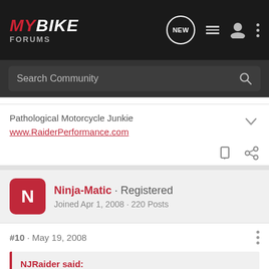MYBIKE FORUMS
Search Community
Pathological Motorcycle Junkie
www.RaiderPerformance.com
Ninja-Matic · Registered
Joined Apr 1, 2008 · 220 Posts
#10 · May 19, 2008
NJRaider said:
Damn, Stevo

Sorry to hear about your mishap there...